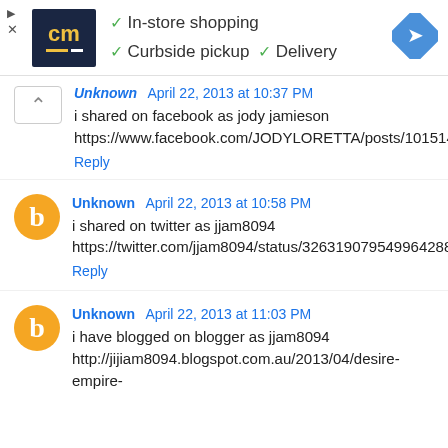[Figure (infographic): Advertisement banner with CM logo, checkmarks for In-store shopping, Curbside pickup, Delivery, and a blue navigation arrow icon]
Unknown April 22, 2013 at 10:37 PM
i shared on facebook as jody jamieson https://www.facebook.com/JODYLORETTA/posts/10151446994807979
Reply
Unknown April 22, 2013 at 10:58 PM
i shared on twitter as jjam8094 https://twitter.com/jjam8094/status/326319079549964288
Reply
Unknown April 22, 2013 at 11:03 PM
i have blogged on blogger as jjam8094 http://jijiam8094.blogspot.com.au/2013/04/desire-empire-